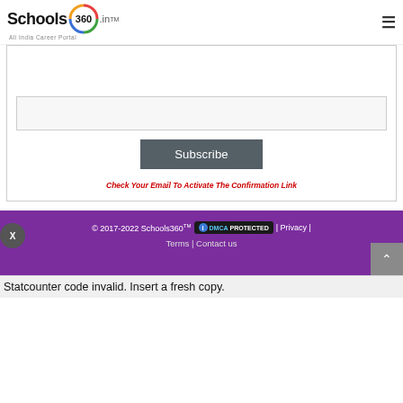[Figure (logo): Schools360.in All India Career Portal logo with colorful 360 circle graphic]
Subscribe
Check Your Email To Activate The Confirmation Link
© 2017-2022 Schools360™ | DMCA PROTECTED | Privacy | Terms | Contact us
Statcounter code invalid. Insert a fresh copy.